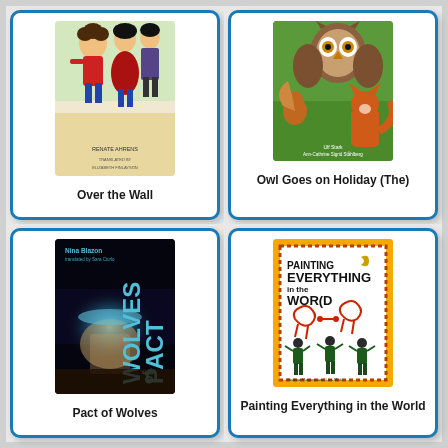[Figure (illustration): Book cover grid showing four books: 'Over the Wall', 'Owl Goes on Holiday (The)', 'Pact of Wolves', and 'Painting Everything in the World'. Each book cover is shown with its title below in a white card with blue border.]
Over the Wall
Owl Goes on Holiday (The)
Pact of Wolves
Painting Everything in the World